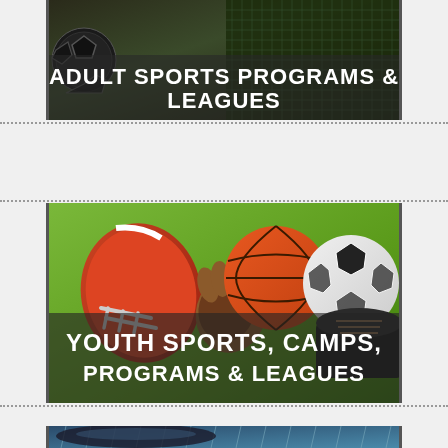[Figure (photo): Banner image for Adult Sports Programs & Leagues with soccer ball and sports background, white bold text overlay reading 'ADULT SPORTS PROGRAMS & LEAGUES']
[Figure (photo): Banner image for Youth Sports, Camps, Programs & Leagues with football helmet, basketball, soccer ball, cleats and baseball glove on grass background, white bold text overlay reading 'YOUTH SPORTS, CAMPS, PROGRAMS & LEAGUES']
[Figure (photo): Partial banner image showing rain or water splashing, appears to be the top portion of a third category card]